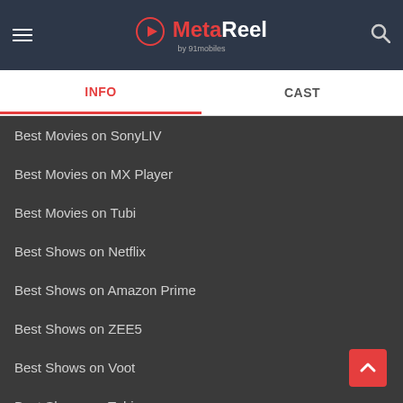MetaReel by 91mobiles
INFO | CAST
Best Movies on SonyLIV
Best Movies on MX Player
Best Movies on Tubi
Best Shows on Netflix
Best Shows on Amazon Prime
Best Shows on ZEE5
Best Shows on Voot
Best Shows on Tubi
Best Shows on Jio Cinema
RECENTLY ADDED MOVIES
Karnasubarner Guptodhon